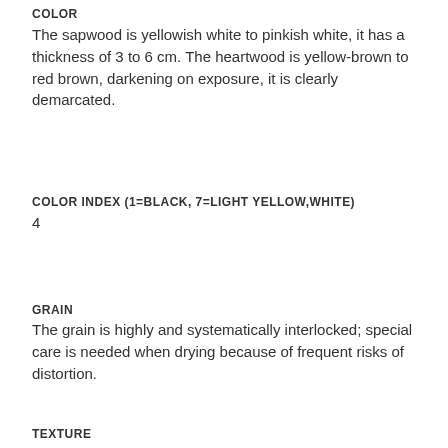COLOR
The sapwood is yellowish white to pinkish white, it has a thickness of 3 to 6 cm. The heartwood is yellow-brown to red brown, darkening on exposure, it is clearly demarcated.
COLOR INDEX (1=BLACK, 7=LIGHT YELLOW,WHITE)
4
GRAIN
The grain is highly and systematically interlocked; special care is needed when drying because of frequent risks of distortion.
TEXTURE